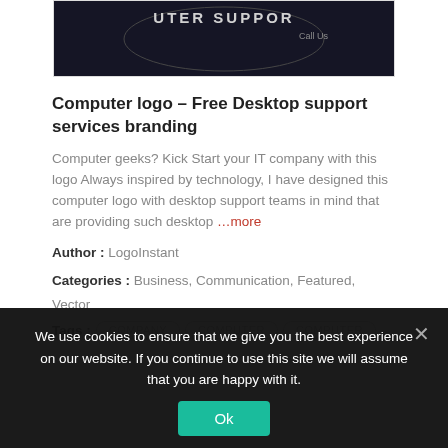[Figure (photo): Dark circular logo with text 'UTER SUPPORT' and 'Call Us' visible on a dark background]
Computer logo – Free Desktop support services branding
Computer geeks? Kick Start your IT company with this logo Always inspired by technology, I have designed this computer logo with desktop support teams in mind that are providing such desktop …more
Author : LogoInstant
Categories : Business, Communication, Featured, Vector
Tags : COMPANY  COMPUTER  COMPUTER
We use cookies to ensure that we give you the best experience on our website. If you continue to use this site we will assume that you are happy with it.